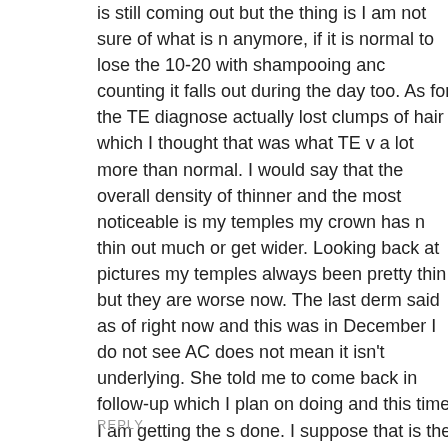is still coming out but the thing is I am not sure of what is normal anymore, if it is normal to lose the 10-20 with shampooing and counting it falls out during the day too. As for the TE diagnosis I actually lost clumps of hair which I thought that was what TE was a lot more than normal. I would say that the overall density of my hair is thinner and the most noticeable is my temples my crown has not seem to thin out much or get wider. Looking back at pictures my temples have always been pretty thin but they are worse now. The last derm I saw said as of right now and this was in December I do not see AGA but that does not mean it isn't underlying. She told me to come back in 6 months for a follow-up which I plan on doing and this time I am getting the scalp biopsy done. I suppose that is the only way to truly know if it is TE or AGA. I will keep you posted with my results.
How long has your hair been coming out for? Did you ever ge
Take care,
Lisa
REPLY